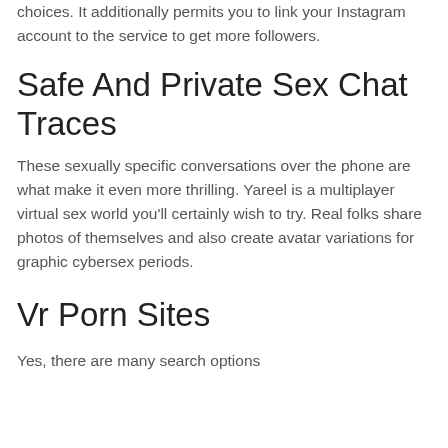choices. It additionally permits you to link your Instagram account to the service to get more followers.
Safe And Private Sex Chat Traces
These sexually specific conversations over the phone are what make it even more thrilling. Yareel is a multiplayer virtual sex world you’ll certainly wish to try. Real folks share photos of themselves and also create avatar variations for graphic cybersex periods.
Vr Porn Sites
Yes, there are many search options